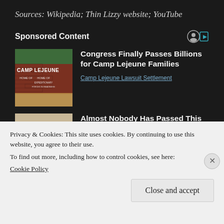Sources: Wikipedia; Thin Lizzy website; YouTube
Sponsored Content
[Figure (photo): Camp Lejeune entrance sign brick wall photo]
Congress Finally Passes Billions for Camp Lejeune Families
Camp Lejeune Lawsuit Settlement
[Figure (photo): Person wearing large cowboy hat with white hair]
Almost Nobody Has Passed This Classic Logo Quiz
Privacy & Cookies: This site uses cookies. By continuing to use this website, you agree to their use.
To find out more, including how to control cookies, see here:
Cookie Policy
Close and accept